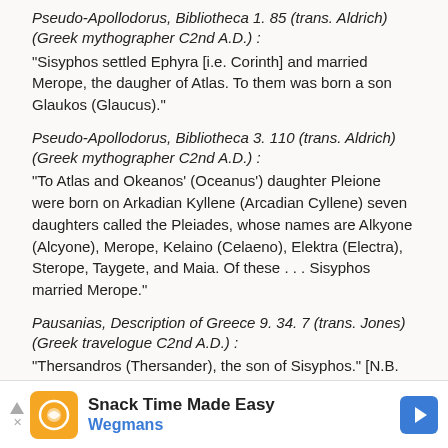Pseudo-Apollodorus, Bibliotheca 1. 85 (trans. Aldrich) (Greek mythographer C2nd A.D.) :
"Sisyphos settled Ephyra [i.e. Corinth] and married Merope, the daugher of Atlas. To them was born a son Glaukos (Glaucus)."
Pseudo-Apollodorus, Bibliotheca 3. 110 (trans. Aldrich) (Greek mythographer C2nd A.D.) :
"To Atlas and Okeanos' (Oceanus') daughter Pleione were born on Arkadian Kyllene (Arcadian Cyllene) seven daughters called the Pleiades, whose names are Alkyone (Alcyone), Merope, Kelaino (Celaeno), Elektra (Electra), Sterope, Taygete, and Maia. Of these . . . Sisyphos married Merope."
Pausanias, Description of Greece 9. 34. 7 (trans. Jones) (Greek travelogue C2nd A.D.) :
"Thersandros (Thersander), the son of Sisyphos." [N.B. He was presumably a son of Merope.]
Pseudo-Hyginus, Fabulae 192 (trans. Grant) (Roman mythographer C2nd A.D.) :
"Atlas by Pleione or an Oceanitide (Oceanid) had twelve
[Figure (other): Advertisement banner for Wegmans: 'Snack Time Made Easy' with Wegmans logo and navigation arrow]